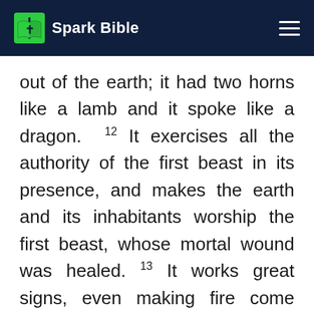Spark Bible
out of the earth; it had two horns like a lamb and it spoke like a dragon. 12 It exercises all the authority of the first beast in its presence, and makes the earth and its inhabitants worship the first beast, whose mortal wound was healed. 13 It works great signs, even making fire come down from heaven to earth in the sight of men; 14 and by the signs which it is allowed to work in the presence of the